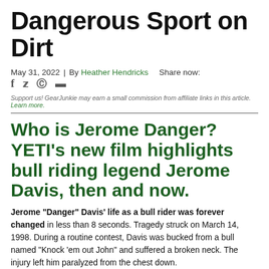Dangerous Sport on Dirt
May 31, 2022 | By Heather Hendricks   Share now:  f  y  reddit  flipboard
Support us! GearJunkie may earn a small commission from affiliate links in this article. Learn more.
Who is Jerome Danger? YETI's new film highlights bull riding legend Jerome Davis, then and now.
Jerome “Danger” Davis’ life as a bull rider was forever changed in less than 8 seconds. Tragedy struck on March 14, 1998. During a routine contest, Davis was bucked from a bull named “Knock ‘em out John” and suffered a broken neck. The injury left him paralyzed from the chest down.
Though the accident forever altered Davis’ life, he sought to